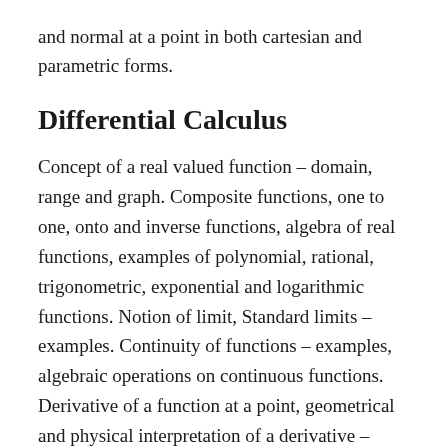and normal at a point in both cartesian and parametric forms.
Differential Calculus
Concept of a real valued function – domain, range and graph. Composite functions, one to one, onto and inverse functions, algebra of real functions, examples of polynomial, rational, trigonometric, exponential and logarithmic functions. Notion of limit, Standard limits – examples. Continuity of functions – examples, algebraic operations on continuous functions. Derivative of a function at a point, geometrical and physical interpretation of a derivative – applications. Derivative of sum, product and quotient of functions, derivative of a function with respect to another